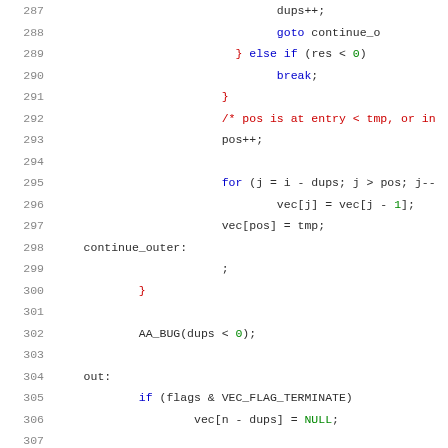[Figure (screenshot): Source code listing showing lines 287-307 of a C program with syntax highlighting. Keywords in blue, comments in red, labels in dark, line numbers in gray.]